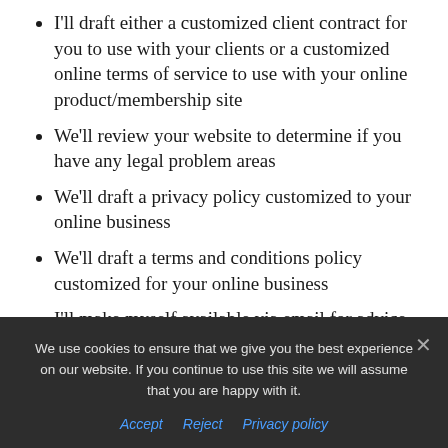I'll draft either a customized client contract for you to use with your clients or a customized online terms of service to use with your online product/membership site
We'll review your website to determine if you have any legal problem areas
We'll draft a privacy policy customized to your online business
We'll draft a terms and conditions policy customized for your online business
I'll make myself available via email for advice and guidance for four months after you hire me
BONUS: A 30 minute follow-up call ($175 value)...
We use cookies to ensure that we give you the best experience on our website. If you continue to use this site we will assume that you are happy with it.
Accept  Reject  Privacy policy